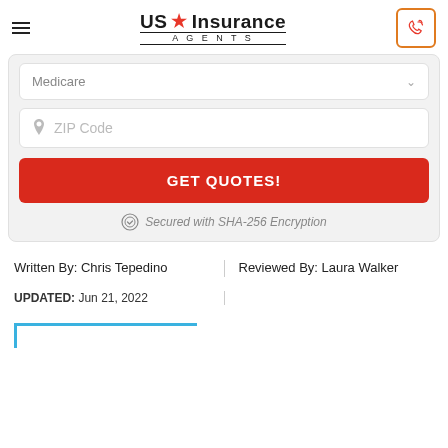US Insurance AGENTS
Medicare
ZIP Code
GET QUOTES!
Secured with SHA-256 Encryption
Written By: Chris Tepedino
Reviewed By: Laura Walker
UPDATED: Jun 21, 2022